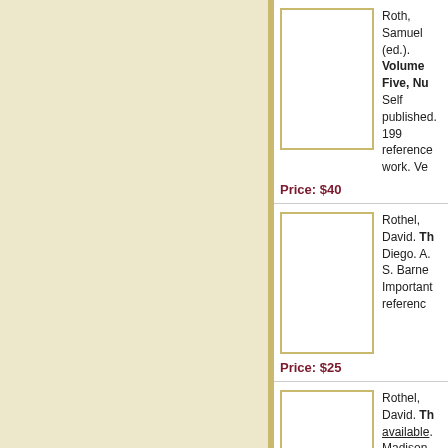[Figure (illustration): Book cover image placeholder (white rectangle with tan border)]
Roth, Samuel (ed.). Volume Five, Nu... Self published. 199... reference work. Ve...
Price: $40
[Figure (illustration): Book cover image placeholder (white rectangle with tan border)]
Rothel, David. Th... Diego. A. S. Barne... Important referenc...
Price: $25
[Figure (illustration): Book cover image placeholder (white rectangle with tan border)]
Rothel, David. Th... available. Madison... Full number line. Il... Bill Dae. As Roy w...